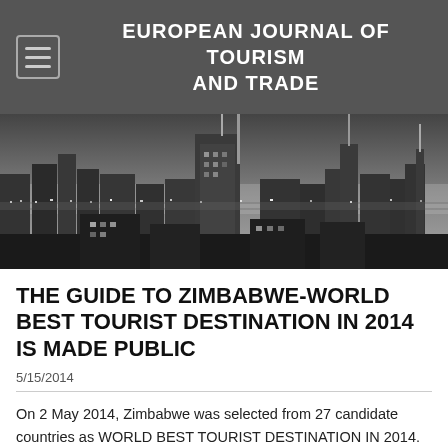EUROPEAN JOURNAL OF TOURISM AND TRADE
[Figure (photo): Black and white nighttime cityscape showing illuminated skyscrapers and city skyline at night]
THE GUIDE TO ZIMBABWE-WORLD BEST TOURIST DESTINATION IN 2014 IS MADE PUBLIC
5/15/2014
On 2 May 2014, Zimbabwe was selected from 27 candidate countries as WORLD BEST TOURIST DESTINATION IN 2014.
The group of experts of European Council on Tourism and Trade